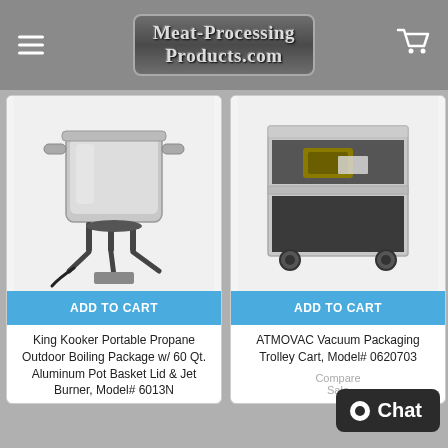Meat-Processing Products.com
[Figure (photo): King Kooker portable propane outdoor boiling package with large stainless steel pot on burner stand]
ADD TO CART
King Kooker Portable Propane Outdoor Boiling Package w/ 60 Qt. Aluminum Pot Basket Lid & Jet Burner, Model# 6013N
[Figure (photo): ATMOVAC vacuum packaging trolley cart on wheels with open shelf compartment, Model# 0620703]
ADD TO CART
ATMOVAC Vacuum Packaging Trolley Cart, Model# 0620703
Compare Sale
Chat